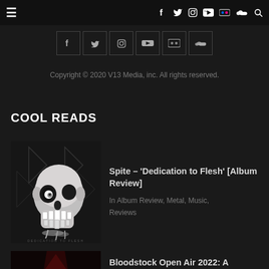≡  f  Twitter  Instagram  YouTube  Flickr  SoundCloud  🔍
[Figure (other): Row of social media icon boxes: Facebook, Twitter, Instagram, YouTube, Flickr, SoundCloud]
Copyright © 2020 V13 Media, inc. All rights reserved.
COOL READS
[Figure (photo): Album cover for Spite – Dedication to Flesh showing a skull with dripping liquid on dark background with band logo]
Spite – 'Dedication to Flesh' [Album Review]
In Album Review, Metal, Music, Reviews
[Figure (photo): Dark reddish photo for Bloodstock Open Air 2022 article]
Bloodstock Open Air 2022: A Weekend of Retu...